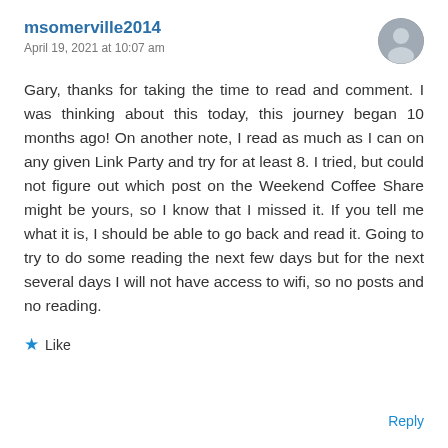msomerville2014
April 19, 2021 at 10:07 am
Gary, thanks for taking the time to read and comment. I was thinking about this today, this journey began 10 months ago! On another note, I read as much as I can on any given Link Party and try for at least 8. I tried, but could not figure out which post on the Weekend Coffee Share might be yours, so I know that I missed it. If you tell me what it is, I should be able to go back and read it. Going to try to do some reading the next few days but for the next several days I will not have access to wifi, so no posts and no reading.
Like
Reply